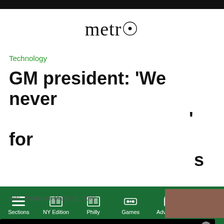metro (logo with globe icon)
Technology
GM president: ‘We never [partially hidden] ’ for [partially hidden]s
[Figure (screenshot): Video overlay popup showing Giant panda Qin Qin gives birth to twins. AP News video with panda image, mute button, text GIANT PANDA QIN QIN GIVES BIRTH TO TWINS.]
ents   Posted on March 21, 2022
Sections   NY Edition   Philly   Games   Advertise   Sign Up